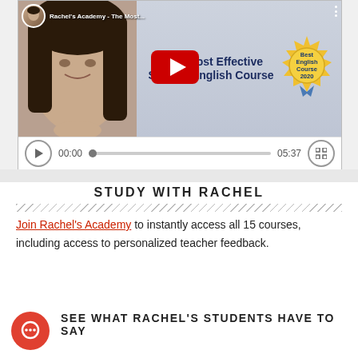[Figure (screenshot): YouTube video thumbnail for '2020 Most Effective Spoken English Course' by Rachel's Academy, showing a woman's face and a badge saying 'Best English Course 2020', with video playback controls showing 00:00 / 05:37]
STUDY WITH RACHEL
Join Rachel's Academy to instantly access all 15 courses, including access to personalized teacher feedback.
SEE WHAT RACHEL'S STUDENTS HAVE TO SAY